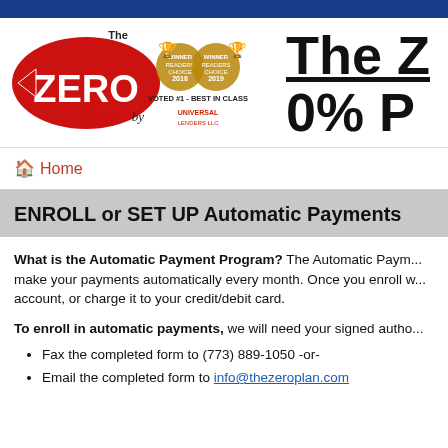[Figure (logo): The Zero Plan logo with award badges (2018, 2019 Readers Choice Awards - Voted #1 Best in Class) by Universal Lenders LLC, alongside large bold text 'The Z... 0% P...' (partially cropped)]
🏠 Home
ENROLL or SET UP Automatic Payments
What is the Automatic Payment Program? The Automatic Paym... make your payments automatically every month. Once you enroll w... account, or charge it to your credit/debit card.
To enroll in automatic payments, we will need your signed autho...
Fax the completed form to (773) 889-1050 -or-
Email the completed form to info@thezeroplan.com